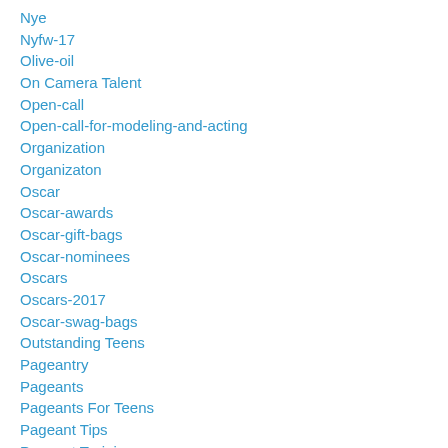Nye
Nyfw-17
Olive-oil
On Camera Talent
Open-call
Open-call-for-modeling-and-acting
Organization
Organizaton
Oscar
Oscar-awards
Oscar-gift-bags
Oscar-nominees
Oscars
Oscars-2017
Oscar-swag-bags
Outstanding Teens
Pageantry
Pageants
Pageants For Teens
Pageant Tips
Pageant Training